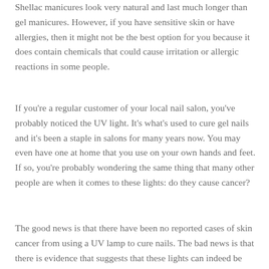Shellac manicures look very natural and last much longer than gel manicures. However, if you have sensitive skin or have allergies, then it might not be the best option for you because it does contain chemicals that could cause irritation or allergic reactions in some people.
If you're a regular customer of your local nail salon, you've probably noticed the UV light. It's what's used to cure gel nails and it's been a staple in salons for many years now. You may even have one at home that you use on your own hands and feet. If so, you're probably wondering the same thing that many other people are when it comes to these lights: do they cause cancer?
The good news is that there have been no reported cases of skin cancer from using a UV lamp to cure nails. The bad news is that there is evidence that suggests that these lights can indeed be dangerous if used frequently over time. The main concern is the rays emitted from the bulbs which can penetrate deep into the